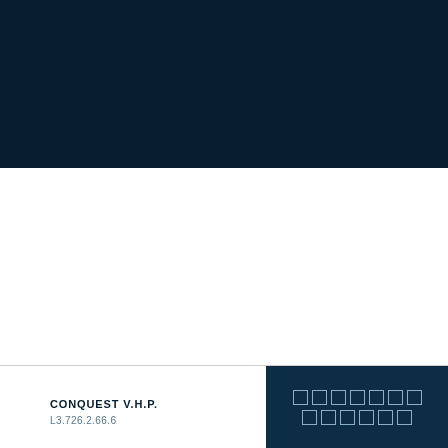[Figure (photo): Dark navy blue banner image occupying the top portion of the page]
CONQUEST V.H.P.
L3.726.2.66.6